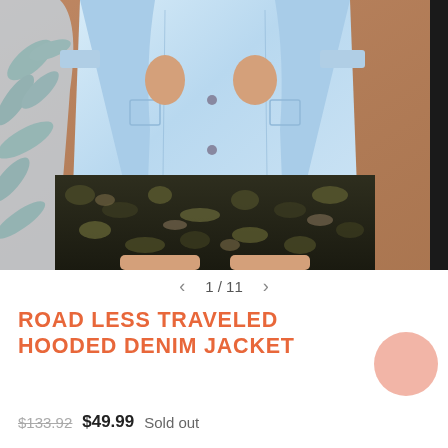[Figure (photo): Fashion product photo showing a woman wearing a light blue denim jacket over a dark camouflage print romper/shorts, with a green plant visible on the left side and a tan/brown background.]
1 / 11
ROAD LESS TRAVELED HOODED DENIM JACKET
$133.92 $49.99 Sold out